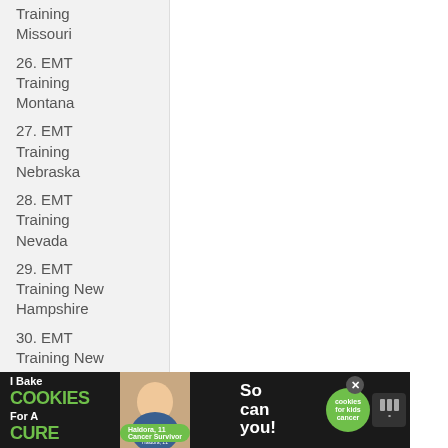Training Missouri
26. EMT Training Montana
27. EMT Training Nebraska
28. EMT Training Nevada
29. EMT Training New Hampshire
30. EMT Training New Jersey
[Figure (photo): Advertisement banner: 'I Bake COOKIES For A CURE' with Haldora, 11, Cancer Survivor and 'So can you!' with cookies for kids cancer logo]